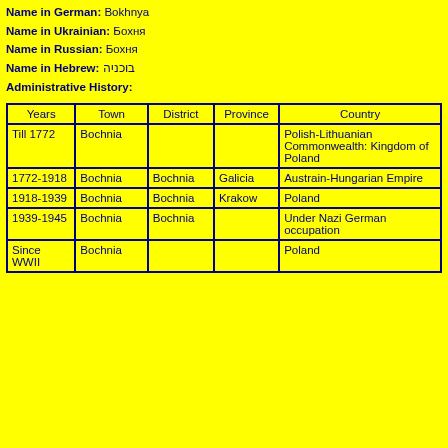Name in German: Bokhnya
Name in Ukrainian: Бохня
Name in Russian: Бохня
Name in Hebrew: בוכניה
Administrative History:
| Years | Town | District | Province | Country |
| --- | --- | --- | --- | --- |
| Till 1772 | Bochnia |  |  | Polish-Lithuanian Commonwealth: Kingdom of Poland |
| 1772-1918 | Bochnia | Bochnia | Galicia | Austrain-Hungarian Empire |
| 1918-1939 | Bochnia | Bochnia | Krakow | Poland |
| 1939-1945 | Bochnia | Bochnia |  | Under Nazi German occupation |
| Since WWII | Bochnia |  |  | Poland |